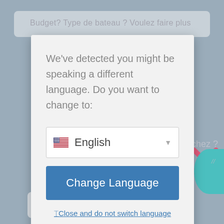[Figure (screenshot): A language-change dialog modal overlay on a website. The background shows a French-language interface with a blurred card at the top reading 'Budget? Type de bateau? Voulez faire plus', a pink X close button on the right, a teal circle on the bottom right, and a French language button at the bottom left. The main modal is a white/light gray dialog with the message 'We've detected you might be speaking a different language. Do you want to change to:' followed by a dropdown selector showing 'English' with a US flag, a blue 'Change Language' button, and a link 'Close and do not switch language'.]
We've detected you might be speaking a different language. Do you want to change to:
English
Change Language
⚐Close and do not switch language